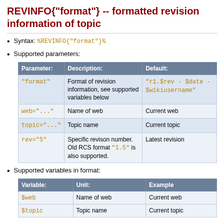REVINFO{"format"} -- formatted revision information of topic
Syntax: %REVINFO{"format"}%
Supported parameters:
| Parameter: | Description: | Default: |
| --- | --- | --- |
| "format" | Format of revision information, see supported variables below | "r1.$rev - $date - $wikiusername" |
| web="..." | Name of web | Current web |
| topic="..." | Topic name | Current topic |
| rev="5" | Specific revison number. Old RCS format "1.5" is also supported. | Latest revision |
Supported variables in format:
| Variable: | Unit: | Example |
| --- | --- | --- |
| $web | Name of web | Current web |
| $topic | Topic name | Current topic |